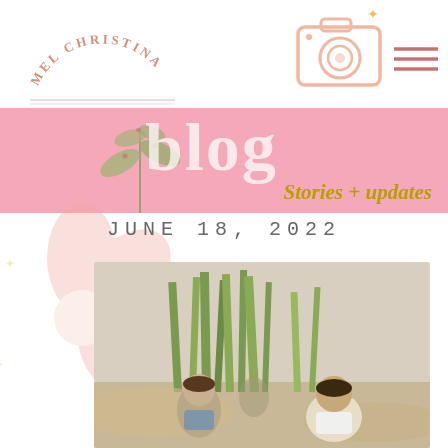MEL CHRISTINA
[Figure (logo): Mel Christina circular logo with text arc and decorative underline]
[Figure (illustration): Camera icon illustration in light peach/salmon color]
[Figure (illustration): Hamburger menu icon with three horizontal lines in rose color]
blog
Stories + updates
[Figure (illustration): Decorative botanical plant illustration in green]
[Figure (illustration): Decorative large flower illustration in light peach on left side watermark]
JUNE 18, 2022
[Figure (photo): Two children playing on sandy beach with tall beach grass in background]